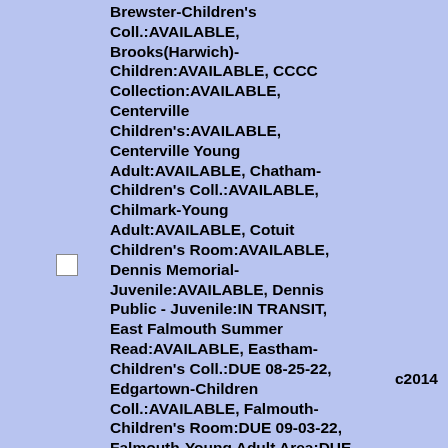Brewster-Children's Coll.:AVAILABLE, Brooks(Harwich)-Children:AVAILABLE, CCCC Collection:AVAILABLE, Centerville Children's:AVAILABLE, Centerville Young Adult:AVAILABLE, Chatham-Children's Coll.:AVAILABLE, Chilmark-Young Adult:AVAILABLE, Cotuit Children's Room:AVAILABLE, Dennis Memorial-Juvenile:AVAILABLE, Dennis Public - Juvenile:IN TRANSIT, East Falmouth Summer Read:AVAILABLE, Eastham-Children's Coll.:DUE 08-25-22, Edgartown-Children Coll.:AVAILABLE, Falmouth-Children's Room:DUE 09-03-22, Falmouth-Young Adult Area:DUE 09-07-22, Hyannis Children's Room:AVAILABLE, Marstons Mills-Children's:AVAILABLE, Mashpee-Children's Coll.:AVAILABLE, Nantucket-Childrens:DUE 09-10-22, North Falmouth YA:AVAILABLE, Oak Bluffs-Children's:AVAILABLE, Orleans-Children's Room:AVAILABLE,
c2014